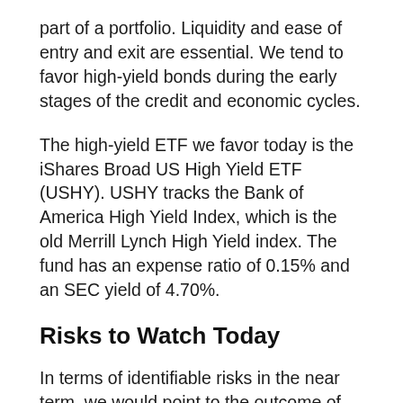part of a portfolio. Liquidity and ease of entry and exit are essential. We tend to favor high-yield bonds during the early stages of the credit and economic cycles.
The high-yield ETF we favor today is the iShares Broad US High Yield ETF (USHY). USHY tracks the Bank of America High Yield Index, which is the old Merrill Lynch High Yield index. The fund has an expense ratio of 0.15% and an SEC yield of 4.70%.
Risks to Watch Today
In terms of identifiable risks in the near term, we would point to the outcome of the Georgia Senate elections. If Democrats